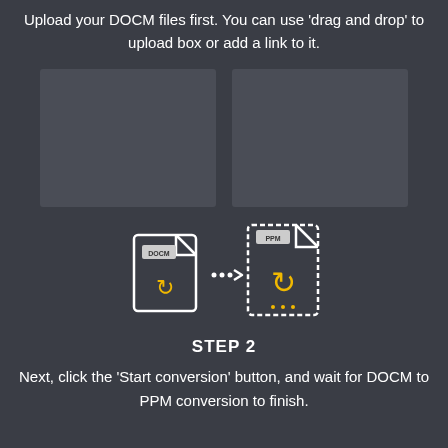Upload your DOCM files first. You can use 'drag and drop' to upload box or add a link to it.
[Figure (screenshot): Two grey upload box placeholders side by side]
[Figure (illustration): DOCM to PPM file conversion icon with two document icons and arrows, DOCM file on the left with a yellow circular arrow, PPM file on the right larger with a yellow circular arrow and dotted border]
STEP 2
Next, click the 'Start conversion' button, and wait for DOCM to PPM conversion to finish.